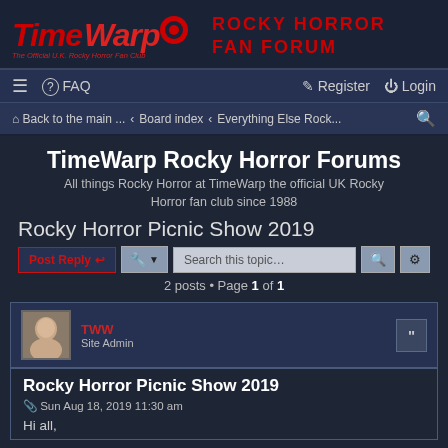[Figure (logo): TimeWarp Rocky Horror Fan Forum logo with red stylized text and Rocky Horror Fan Forum title]
≡  ? FAQ    ✎ Register  ⏻ Login
🏠 Back to the main ...  ‹  Board index  ‹  Everything Else Rock...  🔍
TimeWarp Rocky Horror Forums
All things Rocky Horror at TimeWarp the official UK Rocky Horror fan club since 1988
Rocky Horror Picnic Show 2019
Post Reply  🔧  Search this topic...  🔍  ⚙
2 posts • Page 1 of 1
TWW
Site Admin
Rocky Horror Picnic Show 2019
Sun Aug 18, 2019 11:30 am
Hi all,